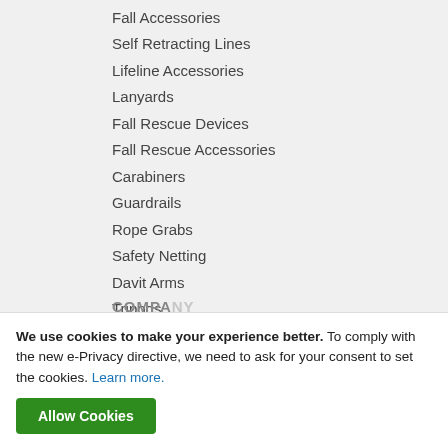Fall Accessories
Self Retracting Lines
Lifeline Accessories
Lanyards
Fall Rescue Devices
Fall Rescue Accessories
Carabiners
Guardrails
Rope Grabs
Safety Netting
Davit Arms
Tripods
Fall Limiters
Tool Fall Protection
Body Belts
We use cookies to make your experience better. To comply with the new e-Privacy directive, we need to ask for your consent to set the cookies. Learn more.